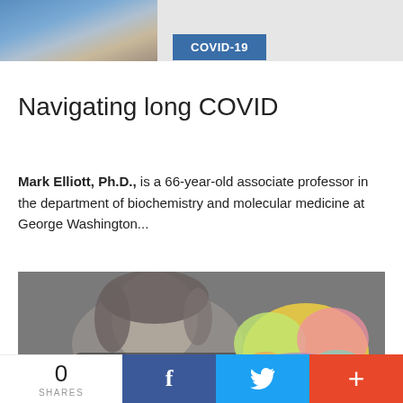[Figure (photo): Cropped top portion of a photo showing two people]
COVID-19
Navigating long COVID
Mark Elliott, Ph.D., is a 66-year-old associate professor in the department of biochemistry and molecular medicine at George Washington...
[Figure (photo): Black and white photo of a woman with curly hair holding a colorful brain model]
0 SHARES  [Facebook share]  [Twitter share]  [More share]